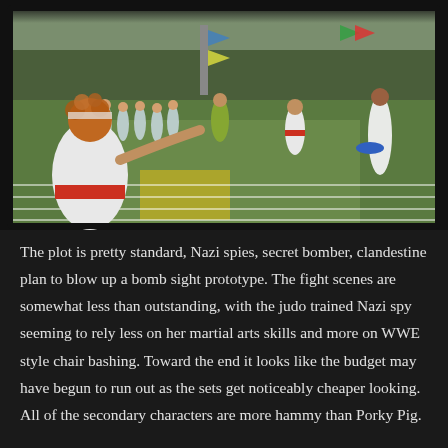[Figure (photo): Outdoor scene showing women in white togas and colorful dresses participating in what appears to be a Greek-themed athletic event or competition on a grass field. A person with curly red hair is in the foreground with arm extended. Colorful triangular flags are visible in the background near trees.]
The plot is pretty standard, Nazi spies, secret bomber, clandestine plan to blow up a bomb sight prototype. The fight scenes are somewhat less than outstanding, with the judo trained Nazi spy seeming to rely less on her martial arts skills and more on WWE style chair bashing. Toward the end it looks like the budget may have begun to run out as the sets get noticeably cheaper looking. All of the secondary characters are more hammy than Porky Pig.